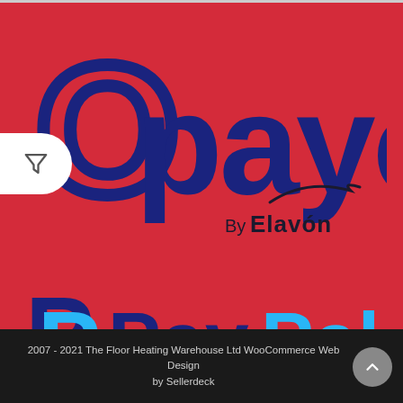[Figure (logo): Opayo by Elavon logo on red background — large dark blue 'Opayo' text with stylized letter O, followed by 'By Elavon' text in dark with a swoosh accent]
[Figure (logo): PayPal logo on red background — dark blue and light blue PayPal 'P' icon followed by dark blue and light blue 'PayPal' wordmark]
2007 - 2021 The Floor Heating Warehouse Ltd WooCommerce Web Design by Sellerdeck